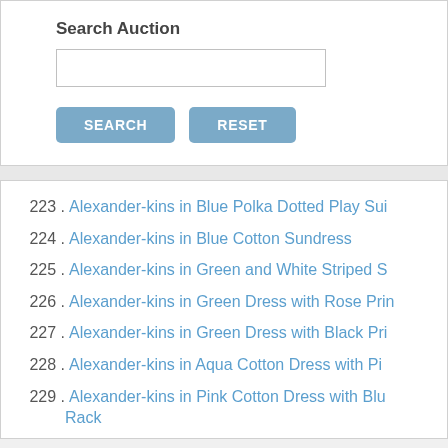Search Auction
[Figure (screenshot): Search input text field (empty)]
[Figure (screenshot): SEARCH button and RESET button]
223. Alexander-kins in Blue Polka Dotted Play Sui…
224. Alexander-kins in Blue Cotton Sundress
225. Alexander-kins in Green and White Striped S…
226. Alexander-kins in Green Dress with Rose Prin…
227. Alexander-kins in Green Dress with Black Pri…
228. Alexander-kins in Aqua Cotton Dress with Pi…
229. Alexander-kins in Pink Cotton Dress with Blu… Rack